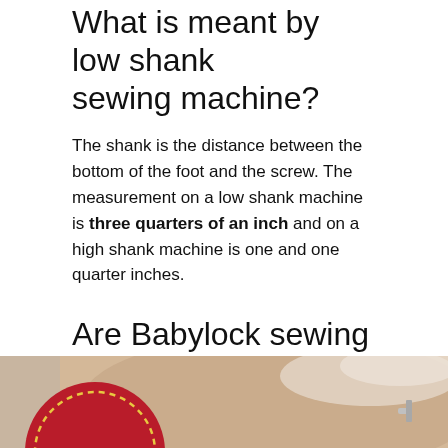What is meant by low shank sewing machine?
The shank is the distance between the bottom of the foot and the screw. The measurement on a low shank machine is three quarters of an inch and on a high shank machine is one and one quarter inches.
Are Babylock sewing machines low shank?
Babylock Sewing Machine Low Shank Adapter.
[Figure (photo): Photo showing a red circular fabric piece with dashed stitching and sewing machine components in the background]